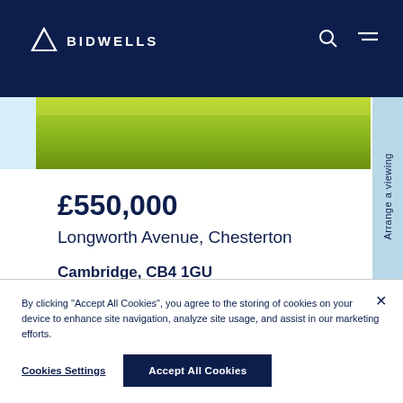[Figure (logo): Bidwells logo with triangle icon and text BIDWELLS on dark navy background header]
[Figure (photo): Green grass/lawn photograph strip]
£550,000
Longworth Avenue, Chesterton
Cambridge, CB4 1GU
By clicking "Accept All Cookies", you agree to the storing of cookies on your device to enhance site navigation, analyze site usage, and assist in our marketing efforts.
Cookies Settings
Accept All Cookies